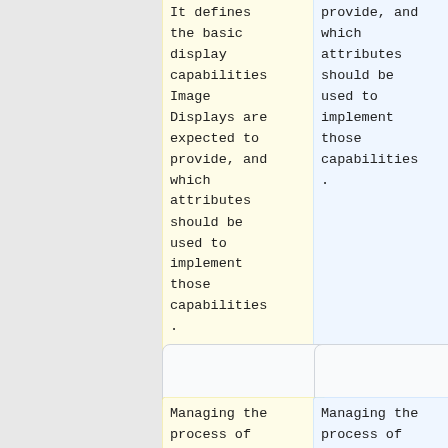It defines the basic display capabilities Image Displays are expected to provide, and which attributes should be used to implement those capabilities.
provide, and which attributes should be used to implement those capabilities.
Managing the process of creating, storing and
Managing the process of creating, storing and